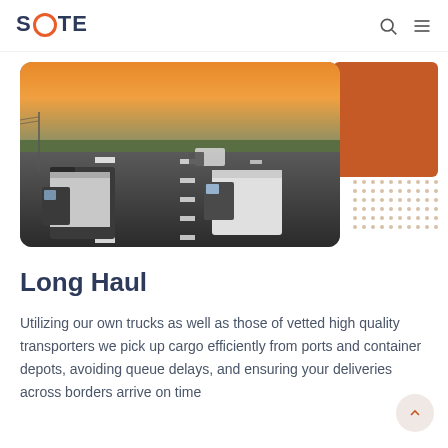SOTE
[Figure (photo): Highway scene at sunset with multiple large semi-trucks and trailers traveling on a multi-lane road. An orange decorative block and a dot-pattern grid appear to the right of the main photo.]
Long Haul
Utilizing our own trucks as well as those of vetted high quality transporters we pick up cargo efficiently from ports and container depots, avoiding queue delays, and ensuring your deliveries across borders arrive on time